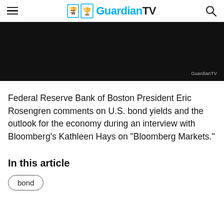GuardianTV
[Figure (screenshot): Black video thumbnail with GuardianTV watermark in bottom right]
Federal Reserve Bank of Boston President Eric Rosengren comments on U.S. bond yields and the outlook for the economy during an interview with Bloomberg's Kathleen Hays on "Bloomberg Markets."
In this article
bond